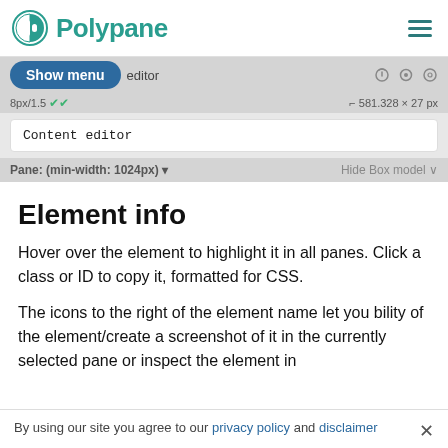Polypane
[Figure (screenshot): Polypane browser dev tool UI showing a 'Show menu' button, Content editor field, font size info '8px/1.5', dimensions '581.328 × 27 px', and pane media query '(min-width: 1024px)' with 'Hide Box model' option]
Element info
Hover over the element to highlight it in all panes. Click a class or ID to copy it, formatted for CSS.
The icons to the right of the element name let you bility of the element/create a screenshot of it in the currently selected pane or inspect the element in
By using our site you agree to our privacy policy and disclaimer